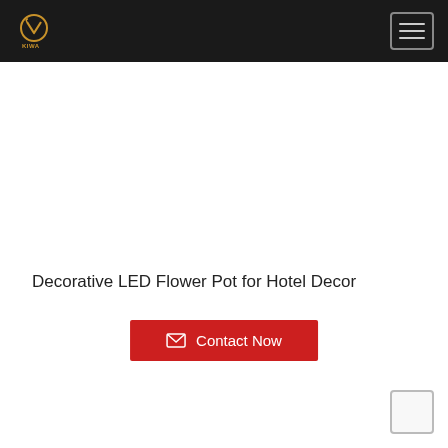KIWA
Decorative LED Flower Pot for Hotel Decor
Contact Now
[Figure (other): Small scroll-to-top widget box in bottom-right corner]